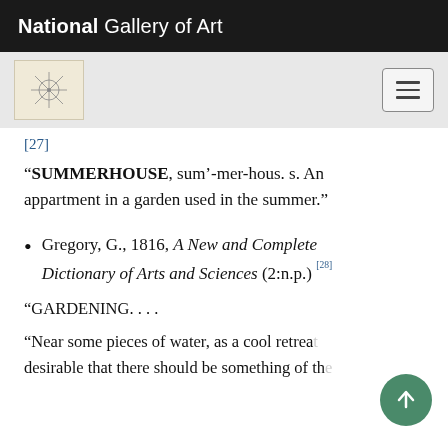National Gallery of Art
[27]
“SUMMERHOUSE, sum’-mer-hous. s. An appartment in a garden used in the summer.”
Gregory, G., 1816, A New and Complete Dictionary of Arts and Sciences (2:n.p.) [28]
“GARDENING. . . .
“Near some pieces of water, as a cool retreat… desirable that there should be something of the…